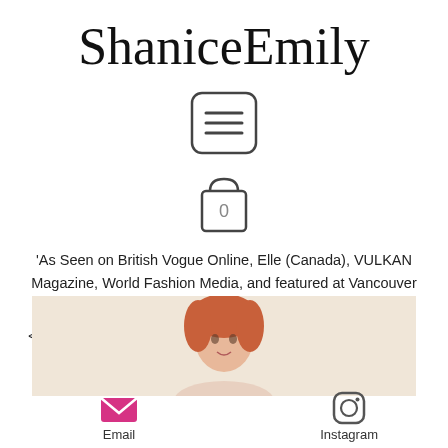ShaniceEmily
[Figure (other): Hamburger menu icon — a rounded rectangle with three horizontal lines]
[Figure (other): Shopping bag icon with '0' inside]
'As Seen on British Vogue Online, Elle (Canada), VULKAN Magazine, World Fashion Media, and featured at Vancouver Fashion Week'
< Back to Home
[Figure (photo): Partial photo of a person with red/auburn hair on a light beige background, cropped at shoulders]
[Figure (other): Email icon — pink/magenta envelope]
[Figure (other): Instagram icon — camera outline]
Email
Instagram